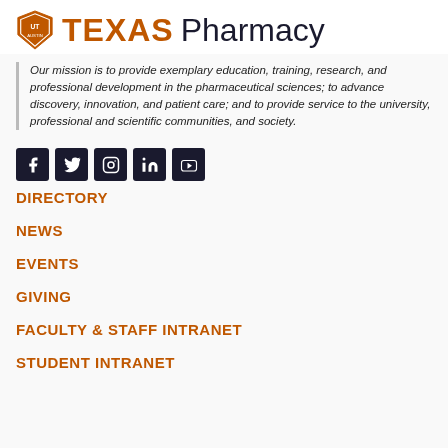TEXAS Pharmacy
Our mission is to provide exemplary education, training, research, and professional development in the pharmaceutical sciences; to advance discovery, innovation, and patient care; and to provide service to the university, professional and scientific communities, and society.
[Figure (infographic): Social media icons: Facebook, Twitter, Instagram, LinkedIn, YouTube]
DIRECTORY
NEWS
EVENTS
GIVING
FACULTY & STAFF INTRANET
STUDENT INTRANET